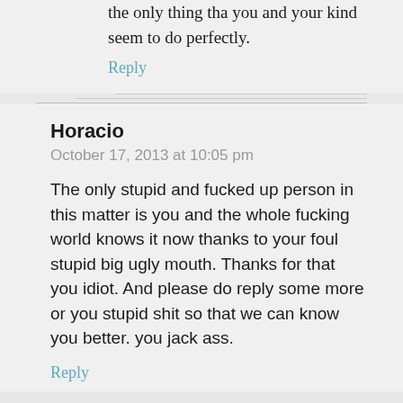the only thing tha you and your kind seem to do perfectly.
Reply
Horacio
October 17, 2013 at 10:05 pm
The only stupid and fucked up person in this matter is you and the whole fucking world knows it now thanks to your foul stupid big ugly mouth. Thanks for that you idiot. And please do reply some more or you stupid shit so that we can know you better. you jack ass.
Reply